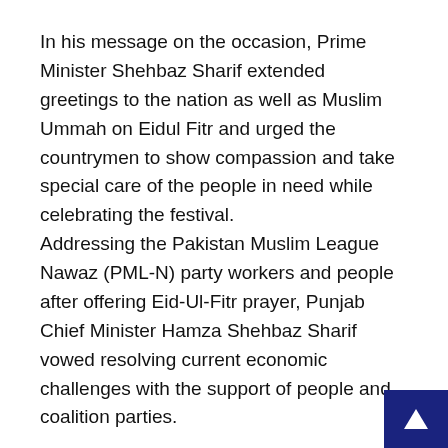In his message on the occasion, Prime Minister Shehbaz Sharif extended greetings to the nation as well as Muslim Ummah on Eidul Fitr and urged the countrymen to show compassion and take special care of the people in need while celebrating the festival. Addressing the Pakistan Muslim League Nawaz (PML-N) party workers and people after offering Eid-Ul-Fitr prayer, Punjab Chief Minister Hamza Shehbaz Sharif vowed resolving current economic challenges with the support of people and coalition parties.
Chief of Army Staff (COAS) General Qamar Javed Bajwa spent Eid day with troops in Dungi area of Kotli  along the Line of Control (LoC) and offered Eid prayers with troops.